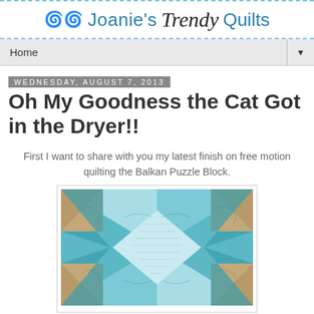Joanie's Trendy Quilts
Home
Wednesday, August 7, 2013
Oh My Goodness the Cat Got in the Dryer!!
First I want to share with you my latest finish on free motion quilting the Balkan Puzzle Block.
[Figure (photo): Close-up photo of a Balkan Puzzle quilt block in teal/aqua and tan/brown fabrics with free motion quilting visible.]